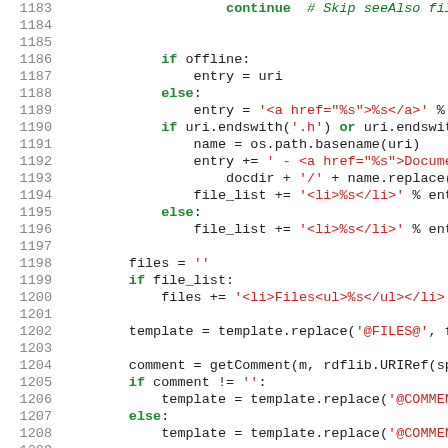[Figure (screenshot): Python source code lines 1183-1212 showing file list building logic, template replacement calls, and comment/time handling in a code editor view with line numbers on the left, keywords in green bold, string literals in red, and comments in green italic.]